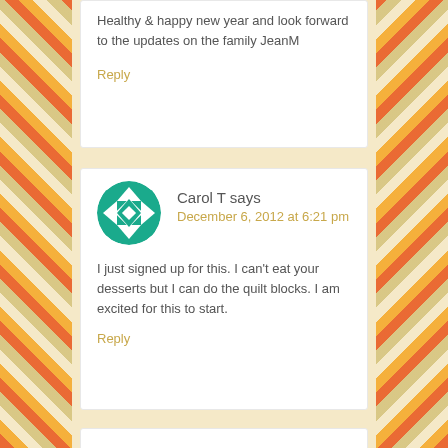Healthy & happy new year and look forward to the updates on the family JeanM
Reply
Carol T says
December 6, 2012 at 6:21 pm
I just signed up for this. I can't eat your desserts but I can do the quilt blocks. I am excited for this to start.
Reply